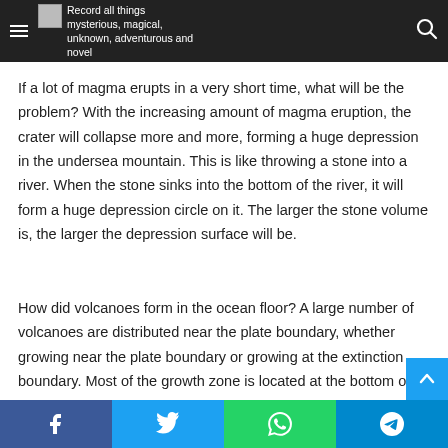Record all things mysterious, magical, unknown, adventurous and novel
If a lot of magma erupts in a very short time, what will be the problem? With the increasing amount of magma eruption, the crater will collapse more and more, forming a huge depression in the undersea mountain. This is like throwing a stone into a river. When the stone sinks into the bottom of the river, it will form a huge depression circle on it. The larger the stone volume is, the larger the depression surface will be.
How did volcanoes form in the ocean floor? A large number of volcanoes are distributed near the plate boundary, whether growing near the plate boundary or growing at the extinction boundary. Most of the growth zone is located at the bottom of
Facebook  Twitter  WhatsApp  Telegram